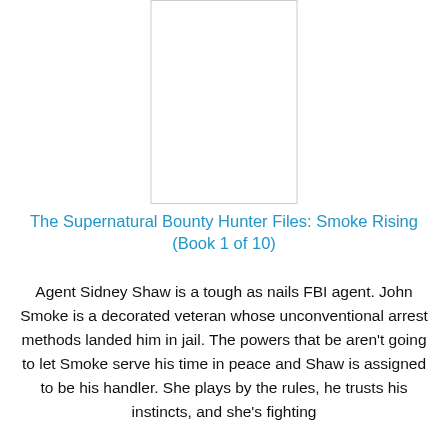[Figure (illustration): Book cover placeholder — white rectangle with thin gray border]
The Supernatural Bounty Hunter Files: Smoke Rising (Book 1 of 10)
Agent Sidney Shaw is a tough as nails FBI agent. John Smoke is a decorated veteran whose unconventional arrest methods landed him in jail. The powers that be aren't going to let Smoke serve his time in peace and Shaw is assigned to be his handler. She plays by the rules, he trusts his instincts, and she's fighting